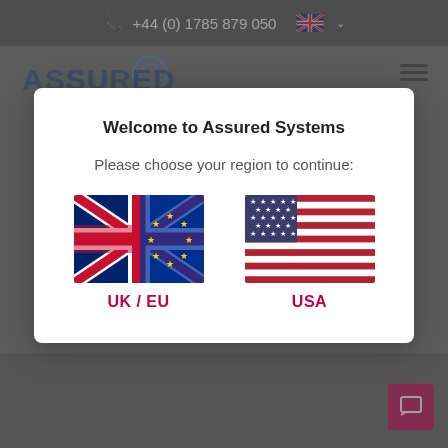+44 (0) 1785 879 050
[Figure (logo): Assured Systems logo with stylized Q icon]
Welcome to Assured Systems
Please choose your region to continue:
[Figure (illustration): UK/EU flag composite image showing Union Jack overlaid with EU flag]
UK / EU
[Figure (illustration): USA flag image]
USA